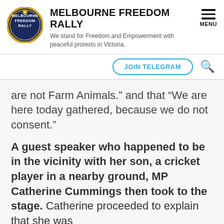MELBOURNE FREEDOM RALLY
We stand for Freedom and Empowerment with peaceful protests in Victoria.
[Figure (logo): Melbourne Freedom Rally circular badge logo with gold border, dark blue background, and yellow/white text]
JOIN TELEGRAM
are not Farm Animals.” and that “We are here today gathered, because we do not consent.”
A guest speaker who happened to be in the vicinity with her son, a cricket player in a nearby ground, MP Catherine Cummings then took to the stage. Catherine proceeded to explain that she was